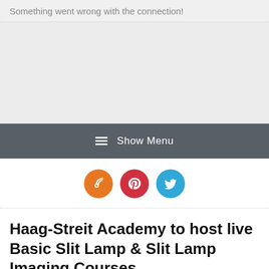Something went wrong with the connection!
[Figure (screenshot): Gray placeholder area indicating a failed image or content load]
≡ Show Menu
[Figure (infographic): Three social media icon buttons: RSS (orange), Pinterest (red), Twitter (blue)]
Haag-Streit Academy to host live Basic Slit Lamp & Slit Lamp Imaging Courses